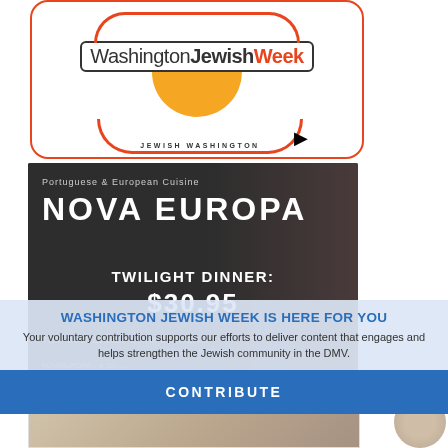[Figure (logo): Washington Jewish Week logo in orange bordered rounded rectangle with semicircle and arc design, text 'Washington Jewish Week' and 'JEWISH WASHINGTON']
[Figure (photo): Nova Europa restaurant ad: dark background with wine glass and steak, text 'Portuguese & European Cuisine', 'NOVA EUROPA', 'TWILIGHT DINNER: $30.95']
WASHINGTON JEWISH WEEK IS HERE FOR YOU
Your voluntary contribution supports our efforts to deliver content that engages and helps strengthen the Jewish community in the DMV.
CONTRIBUTE
[Figure (photo): Partial bottom image of food/restaurant scene, partially cropped]